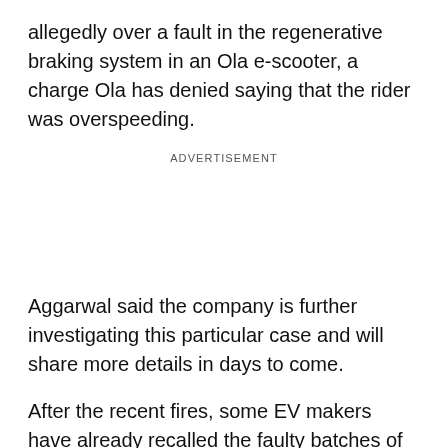allegedly over a fault in the regenerative braking system in an Ola e-scooter, a charge Ola has denied saying that the rider was overspeeding.
ADVERTISEMENT
Aggarwal said the company is further investigating this particular case and will share more details in days to come.
After the recent fires, some EV makers have already recalled the faulty batches of their electric two-wheelers, as the government raised alarm, threatening